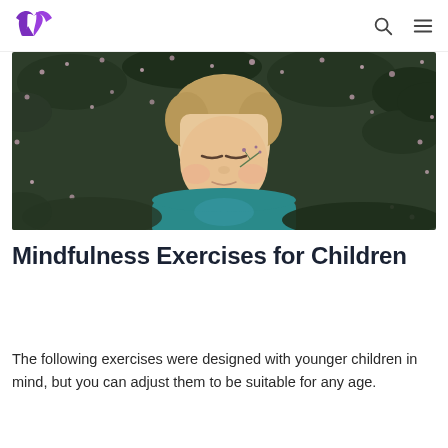Moodment logo, search icon, menu icon
[Figure (photo): Aerial view of a young boy with blonde hair lying on his back in a field of small pink flowers and green foliage, eyes closed, wearing a teal t-shirt, with a small flower stem near his face]
Mindfulness Exercises for Children
The following exercises were designed with younger children in mind, but you can adjust them to be suitable for any age.